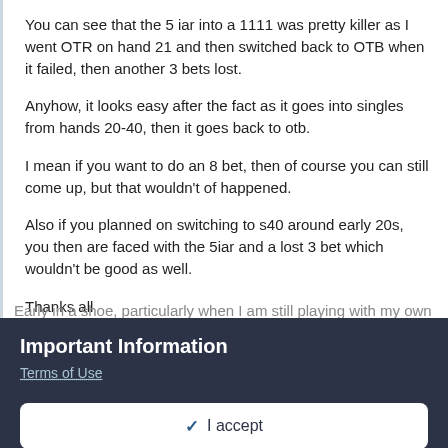You can see that the 5 iar into a 1111 was pretty killer as I went OTR on hand 21 and then switched back to OTB when it failed, then another 3 bets lost.
Anyhow, it looks easy after the fact as it goes into singles from hands 20-40, then it goes back to otb.
I mean if you want to do an 8 bet, then of course you can still come up, but that wouldn't of happened.
Also if you planned on switching to s40 around early 20s, you then are faced with the 5iar and a lost 3 bet which wouldn't be good as well.
Thanks all
Early in a shoe, particularly when I am still playing with my own
Important Information
Terms of Use
✓ I accept